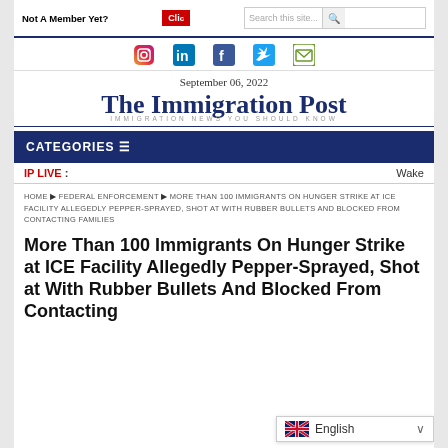Not A Member Yet? | Search this site...
[Figure (screenshot): Social media icons: Instagram, LinkedIn, Facebook, Twitter, Email]
September 06, 2022
The Immigration Post
IMMIGRATION NEWS YOU SHOULD KNOW
CATEGORIES ≡
IP LIVE : Wake
HOME ▶ FEDERAL ENFORCEMENT ▶ MORE THAN 100 IMMIGRANTS ON HUNGER STRIKE AT ICE FACILITY ALLEGEDLY PEPPER-SPRAYED, SHOT AT WITH RUBBER BULLETS AND BLOCKED FROM CONTACTING FAMILIES
More Than 100 Immigrants On Hunger Strike at ICE Facility Allegedly Pepper-Sprayed, Shot at With Rubber Bullets And Blocked From Contacting...
English